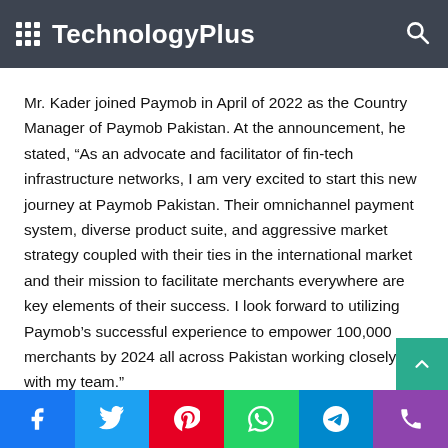TechnologyPlus
Mr. Kader joined Paymob in April of 2022 as the Country Manager of Paymob Pakistan. At the announcement, he stated, “As an advocate and facilitator of fin-tech infrastructure networks, I am very excited to start this new journey at Paymob Pakistan. Their omnichannel payment system, diverse product suite, and aggressive market strategy coupled with their ties in the international market and their mission to facilitate merchants everywhere are key elements of their success. I look forward to utilizing Paymob’s successful experience to empower 100,000 merchants by 2024 all across Pakistan working closely with my team.”